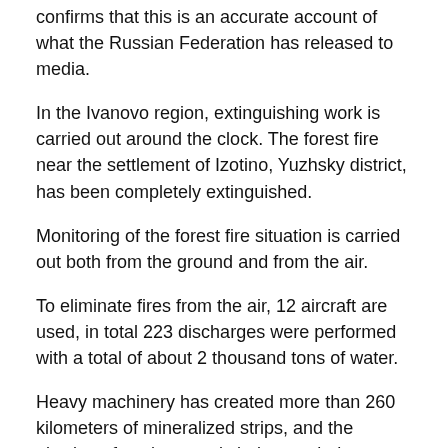confirms that this is an accurate account of what the Russian Federation has released to media.
In the Ivanovo region, extinguishing work is carried out around the clock. The forest fire near the settlement of Izotino, Yuzhsky district, has been completely extinguished.
Monitoring of the forest fire situation is carried out both from the ground and from the air.
To eliminate fires from the air, 12 aircraft are used, in total 223 discharges were performed with a total of about 2 thousand tons of water.
Heavy machinery has created more than 260 kilometers of mineralized strips, and the plowing of settlements is being carried out. There is no threat to settlements. Evacuation of the population is not required.